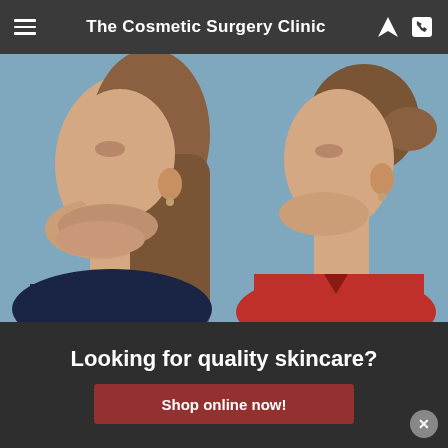The Cosmetic Surgery Clinic
[Figure (photo): Before and after side-by-side photos of a woman's face/neck profile. Left photo (Before): woman in dark top with loose hair, showing jawline/neck area. Right photo (After): same woman in red top with hair pulled back, showing improved jawline definition.]
Before
After
Here’s why it worked
Forever Young BBL treatments trigger cell turnover and collagen formation, providing a catalyst for skin healing and regeneration. Innovative light therapy can be effective in getting to the root of
Looking for quality skincare?
Shop online now!